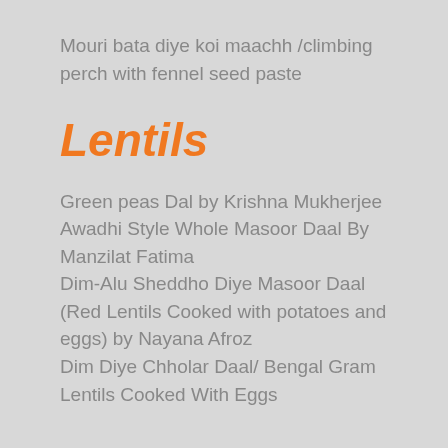Mouri bata diye koi maachh /climbing perch with fennel seed paste
Lentils
Green peas Dal by Krishna Mukherjee
Awadhi Style Whole Masoor Daal By Manzilat Fatima
Dim-Alu Sheddho Diye Masoor Daal (Red Lentils Cooked with potatoes and eggs) by Nayana Afroz
Dim Diye Chholar Daal/ Bengal Gram Lentils Cooked With Eggs